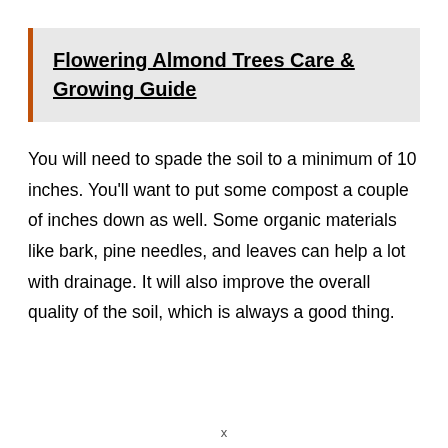Flowering Almond Trees Care & Growing Guide
You will need to spade the soil to a minimum of 10 inches. You’ll want to put some compost a couple of inches down as well. Some organic materials like bark, pine needles, and leaves can help a lot with drainage. It will also improve the overall quality of the soil, which is always a good thing.